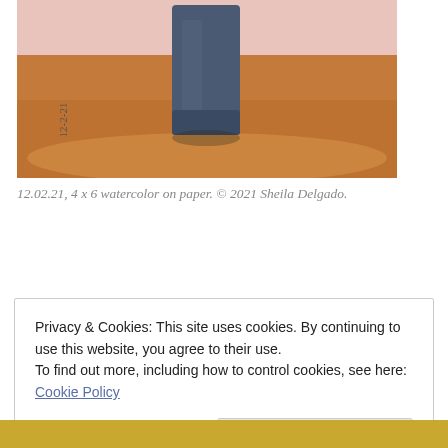[Figure (illustration): Watercolor painting showing a figure in a dark blue/grey dress standing on a terracotta/brown ground with a light pink background. The date '12-2-21' is handwritten vertically on the left side of the painting.]
12.02.21, 4 x 6 watercolor on paper. © 2021 Sheila Delgado.
Privacy & Cookies: This site uses cookies. By continuing to use this website, you agree to their use.
To find out more, including how to control cookies, see here: Cookie Policy